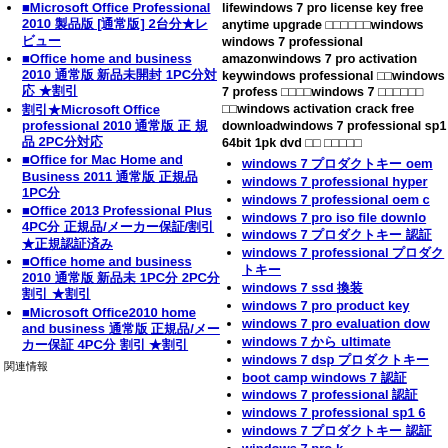Microsoft Office Professional 2010 製品版 [通常版] 2台分★レビュー
Office home and business 2010 通常版 新品未開封 1PC分対応 ★割引
割引★Microsoft Office professional 2010 通常版 正規品 2PC分対応
Office for Mac Home and Business 2011 通常版 正規品 1PC分
Office 2013 Professional Plus 4PC分 正規品/メーカー保証/割引 ★正規認証済み
Office home and business 2010 通常版 新品未 1PC分 2PC分 割引 ★割引
Microsoft Office2010 home and business 通常版 正規品/メーカー保証 4PC分 割引 ★割引
lifewindows 7 pro license key free anytime upgrade キーのみwindows windows 7 professional amazonwindows 7 pro activation keywindows professional 無料windows 7 professプロダクト 認証windows 7 ダウンロード 確認windows activation crack free downloadwindows 7 professional sp1 64bit 1pk dvd 新品中古
windows 7 プロダクトキー oem
windows 7 professional hyper
windows 7 professional oem c
windows 7 pro iso file downlo
windows 7 プロダクトキー 認証
windows 7 professional プロダクトキー
windows 7 ssd 換装
windows 7 pro product key
windows 7 pro evaluation dow
windows 7 から ultimate
windows 7 dsp プロダクトキー
boot camp windows 7 認証
windows 7 professional 認証
windows 7 professional sp1 6
windows 7 プロダクトキー 認証
windows 7 pro k
関連情報